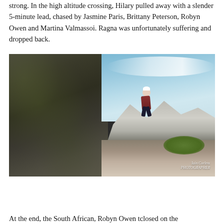strong. In the high altitude crossing, Hilary pulled away with a slender 5-minute lead, chased by Jasmine Paris, Brittany Peterson, Robyn Owen and Martina Valmassoi. Ragna was unfortunately suffering and dropped back.
[Figure (photo): A trail runner in a white hat and dark clothing climbing up a rocky mountain path between large boulders, with alpine mountains and blue sky in the background. Watermark reads 'Iain Corless PHOTOGRAPHER' in bottom right.]
At the end, the South African, Robyn Owen tclosed on the